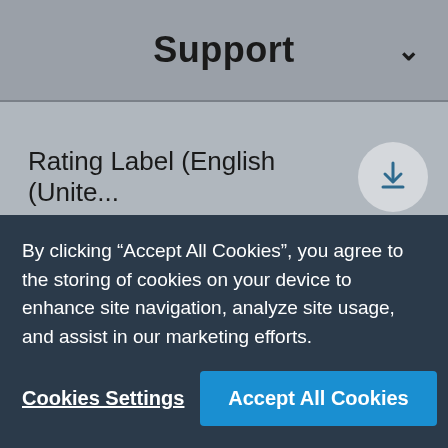Support
Rating Label (English (Unite...
Energy Label (English (Unite...
By clicking “Accept All Cookies”, you agree to the storing of cookies on your device to enhance site navigation, analyze site usage, and assist in our marketing efforts.
Cookies Settings
Accept All Cookies